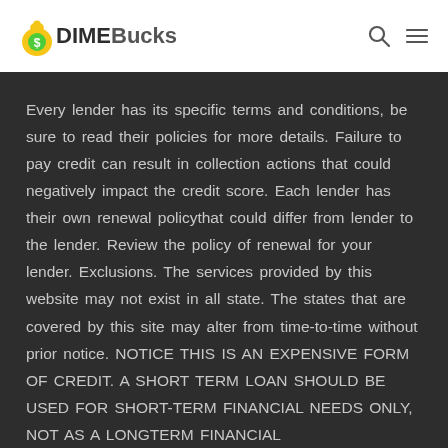DIMEBucks
Every lender has its specific terms and conditions, be sure to read their policies for more details. Failure to pay credit can result in collection actions that could negatively impact the credit score. Each lender has their own renewal policythat could differ from lender to the lender. Review the policy of renewal for your lender. Exclusions. The services provided by this website may not exist in all state. The states that are covered by this site may alter from time-to-time without prior notice. NOTICE THIS IS AN EXPENSIVE FORM OF CREDIT. A SHORT TERM LOAN SHOULD BE USED FOR SHORT-TERM FINANCIAL NEEDS ONLY, NOT AS A LONGTERM FINANCIAL